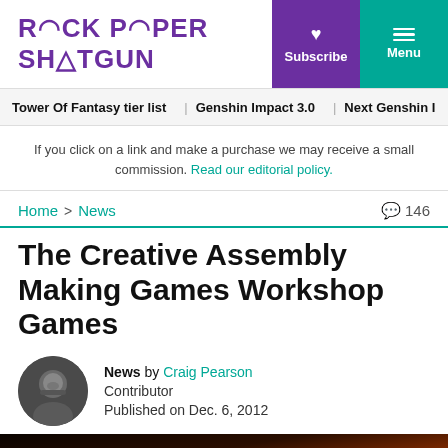ROCK PAPER SHOTGUN
Subscribe | Menu
Tower Of Fantasy tier list | Genshin Impact 3.0 | Next Genshin I
If you click on a link and make a purchase we may receive a small commission. Read our editorial policy.
Home > News  146
The Creative Assembly Making Games Workshop Games
News by Craig Pearson
Contributor
Published on Dec. 6, 2012
[Figure (photo): Partial view of a video game title card with fiery/orange tones, showing partial text 'GAMES']